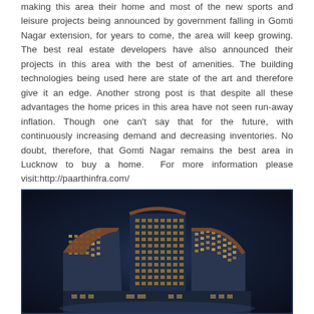making this area their home and most of the new sports and leisure projects being announced by government falling in Gomti Nagar extension, for years to come, the area will keep growing. The best real estate developers have also announced their projects in this area with the best of amenities. The building technologies being used here are state of the art and therefore give it an edge. Another strong post is that despite all these advantages the home prices in this area have not seen run-away inflation. Though one can't say that for the future, with continuously increasing demand and decreasing inventories. No doubt, therefore, that Gomti Nagar remains the best area in Lucknow to buy a home.  For more information please visit:http://paarthinfra.com/
[Figure (photo): Aerial night view of a curved modern high-rise building complex with illuminated windows against a dark blue sky background]